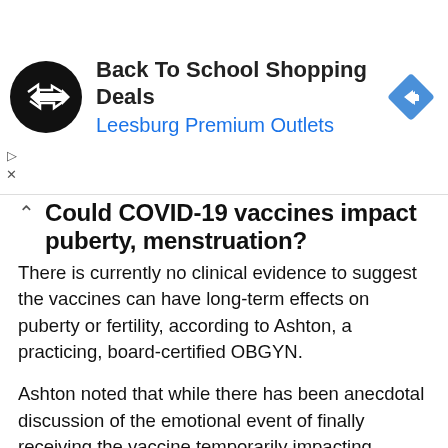[Figure (other): Advertisement banner for Back To School Shopping Deals at Leesburg Premium Outlets, with circular black logo with arrow symbol on left and blue diamond navigation icon on right]
Could COVID-19 vaccines impact puberty, menstruation?
There is currently no clinical evidence to suggest the vaccines can have long-term effects on puberty or fertility, according to Ashton, a practicing, board-certified OBGYN.
Ashton noted that while there has been anecdotal discussion of the emotional event of finally receiving the vaccine temporarily impacting menstruation for adult women, the idea of the cause being from the vaccine itself “defies science and biology.”